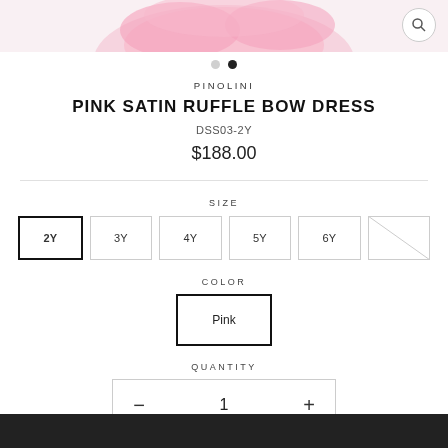[Figure (photo): Pink satin ruffle bow dress product image (cropped top portion visible), pink ruffled fabric visible against white background. Search/zoom icon in top right.]
PINOLINI
PINK SATIN RUFFLE BOW DRESS
DSS03-2Y
$188.00
SIZE
2Y  3Y  4Y  5Y  6Y  [unavailable]
COLOR
Pink
QUANTITY
— 1 +